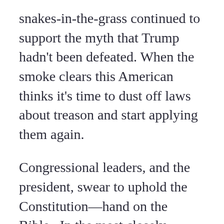snakes-in-the-grass continued to support the myth that Trump hadn't been defeated. When the smoke clears this American thinks it's time to dust off laws about treason and start applying them again.

Congressional leaders, and the president, swear to uphold the Constitution—hand on the Bible.  In the most closely watched election in history, with no evidence of fraud, when the loser wouldn't